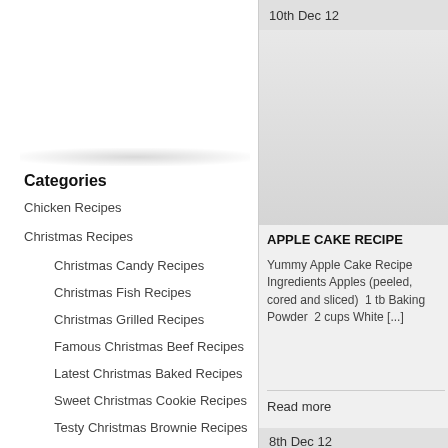Categories
Chicken Recipes
Christmas Recipes
Christmas Candy Recipes
Christmas Fish Recipes
Christmas Grilled Recipes
Famous Christmas Beef Recipes
Latest Christmas Baked Recipes
Sweet Christmas Cookie Recipes
Testy Christmas Brownie Recipes
Yummy Christmas Cake Recipes
Yummy Christmas Chicken Recipes
10th Dec 12
[Figure (photo): Image placeholder for Apple Cake Recipe article]
APPLE CAKE RECIPE
Yummy Apple Cake Recipe Ingredients Apples (peeled, cored and sliced)  1 tb Baking Powder  2 cups White [...]
Read more
8th Dec 12